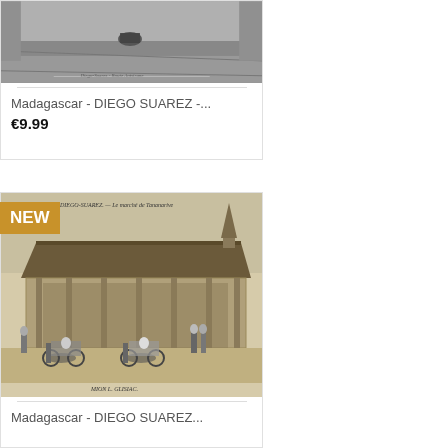[Figure (photo): Vintage black and white photograph of a road scene in Diego Suarez, Madagascar]
Madagascar - DIEGO SUAREZ -...
€9.99
[Figure (photo): Vintage sepia photograph of Le Marché de Tananarive, Diego-Suarez, Madagascar, showing a market building with rickshaws in the foreground. Caption: '25. DIEGO-SUAREZ. — Le marché de Tananarive' and 'MION L. GLISIAC.' at bottom.]
Madagascar - DIEGO SUAREZ...